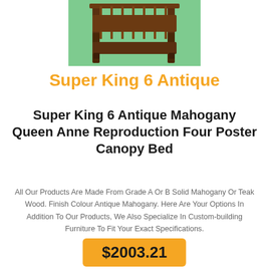[Figure (photo): Photo of a wooden antique four poster canopy bed frame with dark mahogany finish, shown in a room with green flooring]
Super King 6 Antique
Super King 6 Antique Mahogany Queen Anne Reproduction Four Poster Canopy Bed
All Our Products Are Made From Grade A Or B Solid Mahogany Or Teak Wood. Finish Colour Antique Mahogany. Here Are Your Options In Addition To Our Products, We Also Specialize In Custom-building Furniture To Fit Your Exact Specifications.
$2003.21